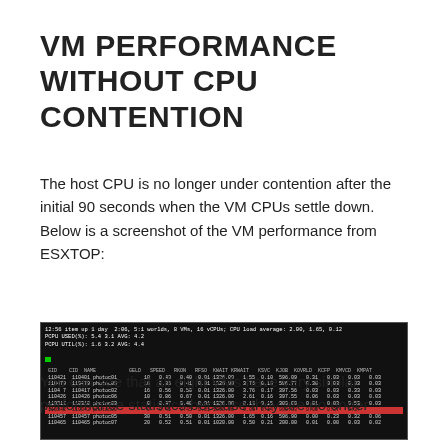VM PERFORMANCE WITHOUT CPU CONTENTION
The host CPU is no longer under contention after the initial 90 seconds when the VM CPUs settle down.  Below is a screenshot of the VM performance from ESXTOP:
[Figure (screenshot): ESXTOP terminal screenshot showing VM performance statistics for 8 VMs (photoc01 through photoc07) with CPU metrics including GELD, SPEED, RKON, RFSO, KWAIT, KRWAIT, KSVC, KJOB, KOVRLD, KCFP, KMVCD, KMPAT columns. One row is highlighted in red.]
You can see that all eight VMs have very similar performance statistics because they are no under